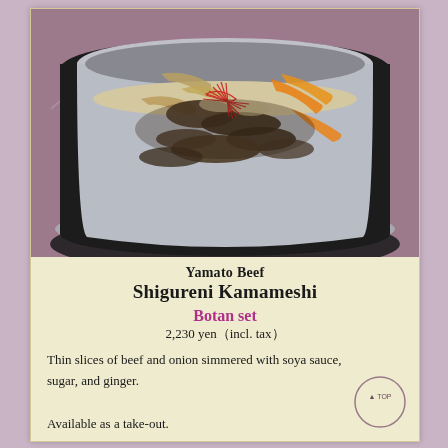[Figure (photo): A silver kamameshi pot filled with Yamato beef shigureni rice with vegetables including carrots and burdock, garnished with thin red chili threads, placed on a dark metal base.]
Yamato Beef Shigureni Kamameshi
Botan set
2,230 yen（incl. tax）
Thin slices of beef and onion simmered with soya sauce, sugar, and ginger.
Available as a take-out.